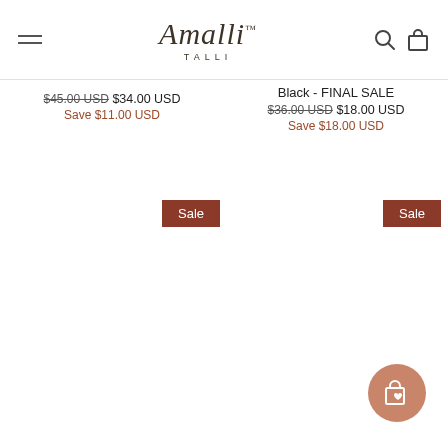Amalli TALLI
$45.00 USD $34.00 USD Save $11.00 USD
Black - FINAL SALE $36.00 USD $18.00 USD Save $18.00 USD
Sale
Sale
[Figure (illustration): Floating cart icon with heart, circular orange button]